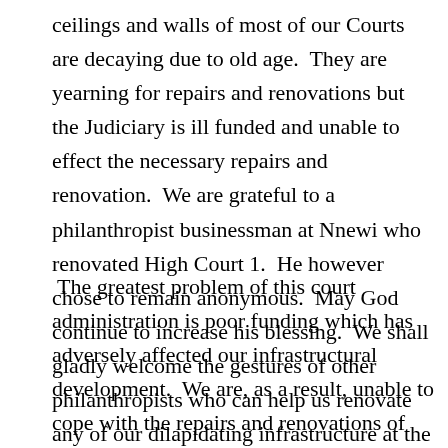ceilings and walls of most of our Courts are decaying due to old age.  They are yearning for repairs and renovations but the Judiciary is ill funded and unable to effect the necessary repairs and renovation.  We are grateful to a philanthropist businessman at Nnewi who renovated High Court 1.  He however chose to remain anonymous.  May God continue to increase his blessing.  We shall gladly welcome the gestures of other philanthropists who can help us renovate any of our dilapidating infrastructure at the High Courts, Magistrate's Courts and Customary Courts.
The greatest problem of this court administration is poor funding which has adversely affected our infrastructural development.  We are, as a result, unable to cope with the repairs and renovations of our old buildings, neither can we embark upon construction of new ones.  With the exception of Ogidi High Court building which was commissioned on